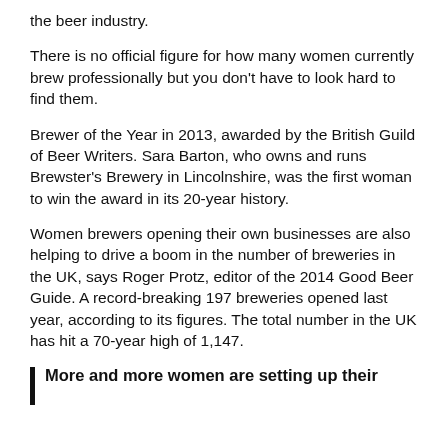the beer industry.
There is no official figure for how many women currently brew professionally but you don't have to look hard to find them.
Brewer of the Year in 2013, awarded by the British Guild of Beer Writers. Sara Barton, who owns and runs Brewster's Brewery in Lincolnshire, was the first woman to win the award in its 20-year history.
Women brewers opening their own businesses are also helping to drive a boom in the number of breweries in the UK, says Roger Protz, editor of the 2014 Good Beer Guide. A record-breaking 197 breweries opened last year, according to its figures. The total number in the UK has hit a 70-year high of 1,147.
More and more women are setting up their